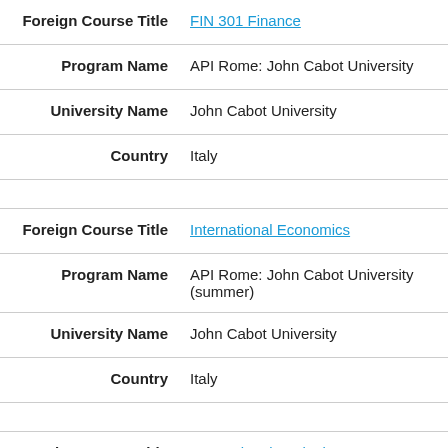| Field | Value |
| --- | --- |
| Foreign Course Title | FIN 301 Finance |
| Program Name | API Rome: John Cabot University |
| University Name | John Cabot University |
| Country | Italy |
| Foreign Course Title | International Economics |
| Program Name | API Rome: John Cabot University (summer) |
| University Name | John Cabot University |
| Country | Italy |
| Foreign Course Title | International Marketing |
| Program Name | API Rome: John Cabot University |